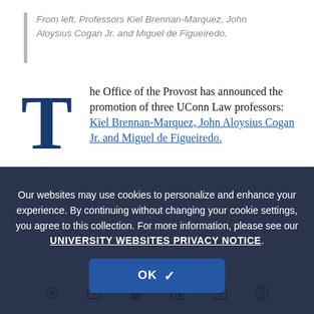From left, Professors Kiel Brennan-Marquez, John Aloysius Cogan Jr. and Miguel de Figueiredo.
The Office of the Provost has announced the promotion of three UConn Law professors: Kiel Brennan-Marquez, John Aloysius Cogan Jr. and Miguel de Figueiredo.
Our websites may use cookies to personalize and enhance your experience. By continuing without changing your cookie settings, you agree to this collection. For more information, please see our UNIVERSITY WEBSITES PRIVACY NOTICE.
All three will receive tenure and a promotion from associate professor of law to professor of law. They are among 44 UConn faculty members recently granted tenure, promotion or both at the recommendation of the Provost and by vote of the University Board of Trustees.